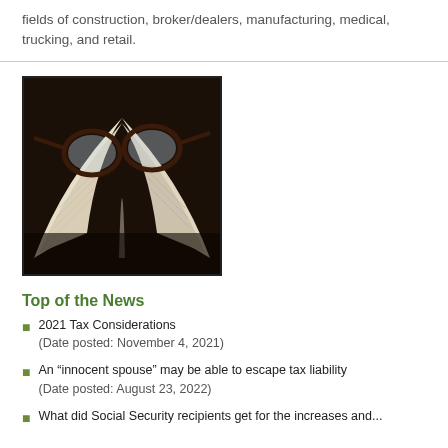fields of construction, broker/dealers, manufacturing, medical, trucking, and retail.
[Figure (photo): Photo of reading glasses resting on an open book, dark background]
Top of the News
2021 Tax Considerations (Date posted: November 4, 2021)
An “innocent spouse” may be able to escape tax liability (Date posted: August 23, 2022)
What did Social Security recipients get for the increases and...